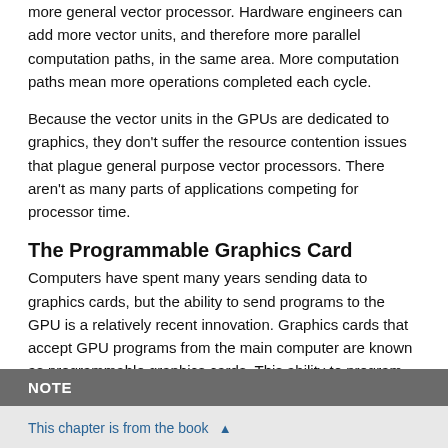more general vector processor. Hardware engineers can add more vector units, and therefore more parallel computation paths, in the same area. More computation paths mean more operations completed each cycle.
Because the vector units in the GPUs are dedicated to graphics, they don't suffer the resource contention issues that plague general purpose vector processors. There aren't as many parts of applications competing for processor time.
The Programmable Graphics Card
Computers have spent many years sending data to graphics cards, but the ability to send programs to the GPU is a relatively recent innovation. Graphics cards that accept GPU programs from the main computer are known as programmable graphics cards. This ability to program the graphics card is the feature that lends power to graphics systems like Quartz 2D and, in particular, Core Image.
NOTE
This chapter is from the book